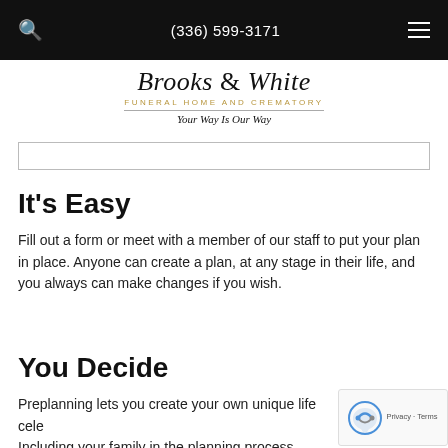(336) 599-3171
[Figure (logo): Brooks & White Funeral Home and Crematory logo with tagline 'Your Way Is Our Way']
It's Easy
Fill out a form or meet with a member of our staff to put your plan in place. Anyone can create a plan, at any stage in their life, and you always can make changes if you wish.
You Decide
Preplanning lets you create your own unique life cele... Including your family in the planning process can help them